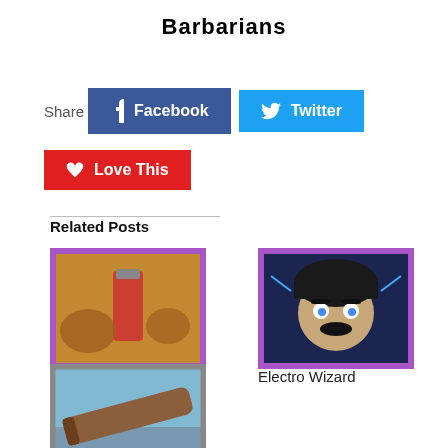Barbarians
Share  Facebook  Twitter  Love This
Related Posts
[Figure (illustration): Poison card image from Clash Royale — brownish card with purple border showing a potion and creatures]
Poison
[Figure (illustration): Electro Wizard card image from Clash Royale — dark blue card with purple border showing a wizard character with electric effects]
Electro Wizard
[Figure (illustration): Log card image from Clash Royale — gray/blue card showing a rolling log]